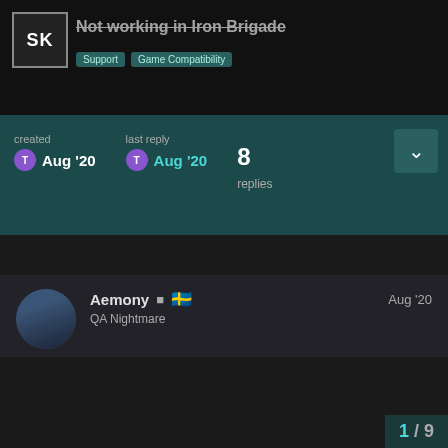Not working in Iron Brigade — Support | Game Compatibility
created Aug '20  last reply Aug '20  8 replies
Aemony QA Nightmare  Aug '20
How have you tried injecting Special K ? Using global inject and if you try local inject, and where did you place it and use SpecialK32.dll or SpecialK64.dll, and what did you name them to?
This website uses cookies to ensure you get the best experience on our website.
Learn more
Got it!
1 / 9